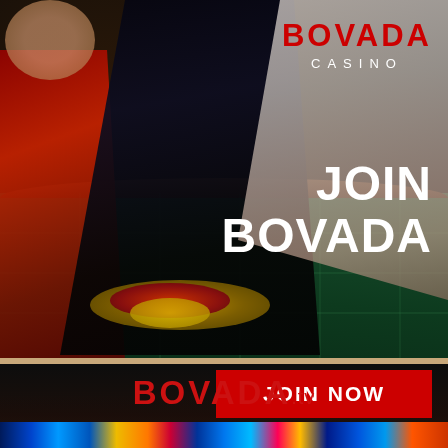[Figure (photo): Bovada Casino advertisement banner showing excited casino players at a roulette/card table with casino chips. A woman in white top with arms raised and a man in dark jacket reaching across green felt table. Red jacketed person on left.]
BOVADA CASINO
JOIN BOVADA
JOIN NOW
[Figure (photo): Bovada.lv logo on dark background with colorful casino lights strip at bottom and blurred casino scene.]